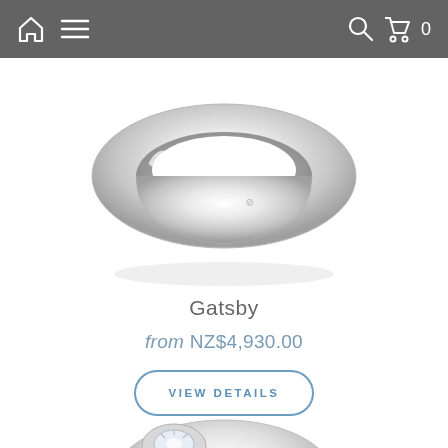Navigation bar with home icon, menu icon, search icon, and cart (0)
[Figure (photo): Close-up photo of a plain silver/white gold ring with a small logo engraving, shown from an angle against a white background]
Gatsby
from NZ$4,930.00
VIEW DETAILS
[Figure (photo): Partial close-up photo of a silver ring with a round diamond set in a bezel, visible at the bottom of the page]